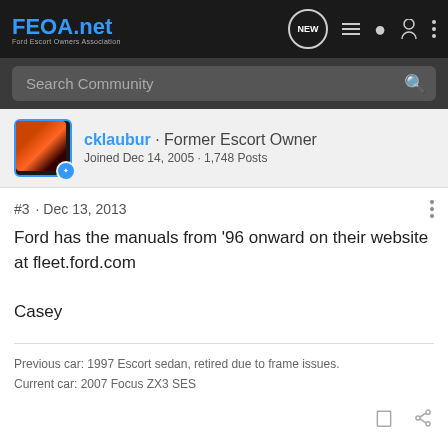FEOA.net Ford Escort Owners Association
Search Community
cklaubur · Former Escort Owner
Joined Dec 14, 2005 · 1,748 Posts
#3 · Dec 13, 2013
Ford has the manuals from '96 onward on their website at fleet.ford.com

Casey
Previous car: 1997 Escort sedan, retired due to frame issues.
Current car: 2007 Focus ZX3 SES